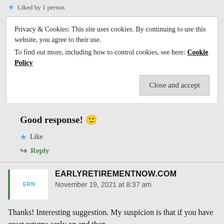Liked by 1 person
Privacy & Cookies: This site uses cookies. By continuing to use this website, you agree to their use.
To find out more, including how to control cookies, see here: Cookie Policy
Close and accept
Good response! 🙂
Like
Reply
EARLYRETIREMENTNOW.COM
November 19, 2021 at 8:37 am
Thanks! Interesting suggestion. My suspicion is that if you have great returns early on and then